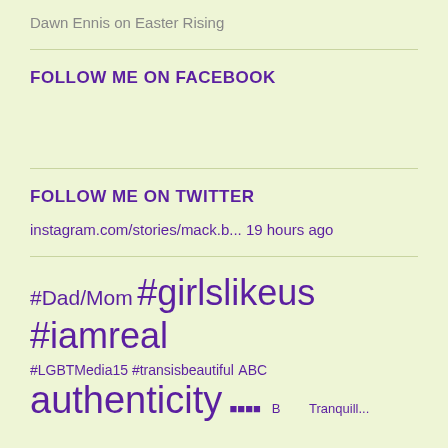Dawn Ennis on Easter Rising
FOLLOW ME ON FACEBOOK
FOLLOW ME ON TWITTER
instagram.com/stories/mack.b... 19 hours ago
#Dad/Mom #girlslikeus #iamreal
#LGBTMedia15 #transisbeautiful ABC
authenticity